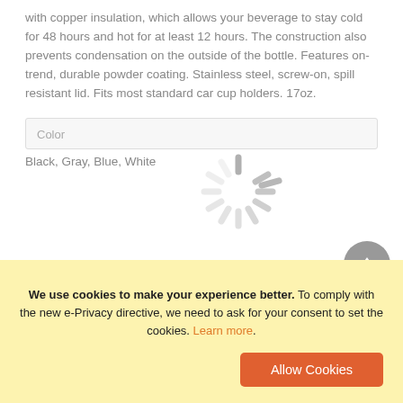with copper insulation, which allows your beverage to stay cold for 48 hours and hot for at least 12 hours. The construction also prevents condensation on the outside of the bottle. Features on-trend, durable powder coating. Stainless steel, screw-on, spill resistant lid. Fits most standard car cup holders. 17oz.
Color
Black, Gray, Blue, White
[Figure (other): Loading spinner / activity indicator graphic]
Material
Plastic w/stainless liner
We use cookies to make your experience better. To comply with the new e-Privacy directive, we need to ask for your consent to set the cookies. Learn more.